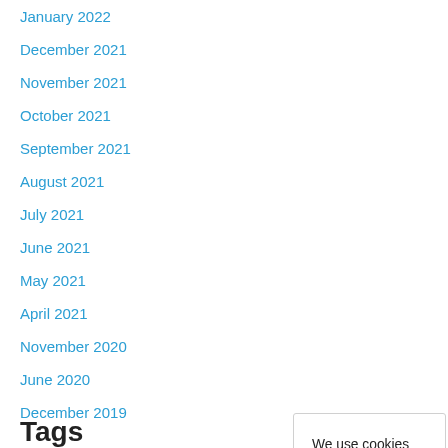January 2022
December 2021
November 2021
October 2021
September 2021
August 2021
July 2021
June 2021
May 2021
April 2021
November 2020
June 2020
December 2019
We use cookies on our website to give you the most relevant experience by remembering your preferences and repeat visits. By clicking "Accept All", you consent to the use of ALL the cookies. However, you may visit "Cookie Settings" to provide a controlled consent.
Cookie Settings | Accept All
Tags